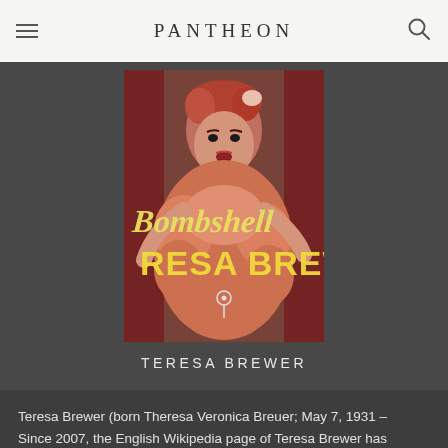PANTHEON
[Figure (photo): Photo of Teresa Brewer from a TV or film appearance, red hair, wearing a pink/orange outfit, with text overlay 'Bombshell' in italic yellow and 'RESA BREW' in large yellow letters, and a small map pin icon]
TERESA BREWER
Teresa Brewer (born Theresa Veronica Breuer; May 7, 1931 – October 17, 2007) was an American singer whose style incorporated pop, country, jazz, R&B, musicals, and novelty songs. Read more on Wikipedia
Since 2007, the English Wikipedia page of Teresa Brewer has received more than 493,954 page views.